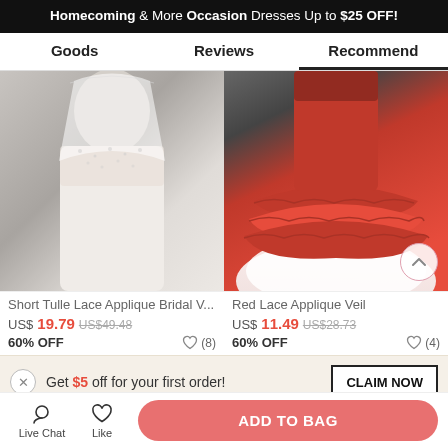Homecoming & More Occasion Dresses Up to $25 OFF!
Goods | Reviews | Recommend
[Figure (photo): White lace bridal veil on a bride, close-up of lace bodice and veil]
[Figure (photo): Red lace applique veil with ruffled tiers on white tulle dress]
Short Tulle Lace Applique Bridal V...
US$19.79 US$49.48
60% OFF (8)
Red Lace Applique Veil
US$11.49 US$28.73
60% OFF (4)
Get $5 off for your first order!
Live Chat | Like | ADD TO BAG